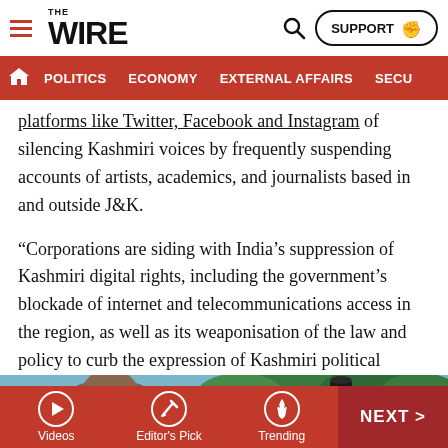THE WIRE — SUPPORT | Navigation: POLITICS, ECONOMY, EXTERNAL AFFAIRS, SECU...
platforms like Twitter, Facebook and Instagram of silencing Kashmiri voices by frequently suspending accounts of artists, academics, and journalists based in and outside J&K.
“Corporations are siding with India’s suppression of Kashmiri digital rights, including the government’s blockade of internet and telecommunications access in the region, as well as its weaponisation of the law and policy to curb the expression of Kashmiri political aspirations in the digital space,” Stand With Kashmir said in its report.
[Figure (photo): Outdoor photo showing a person outdoors with trees and a dark cylindrical object in the background]
Videos | Editor's Pick | Trending | NEXT >